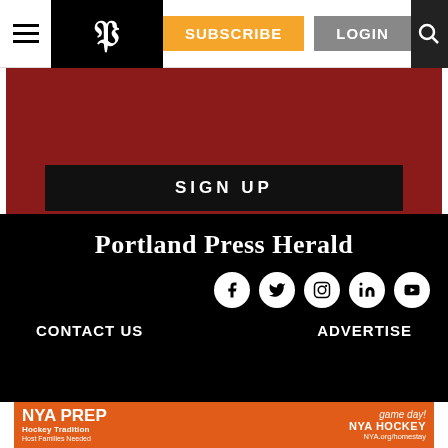Portland Press Herald - Header navigation with hamburger menu, logo, SUBSCRIBE, LOGIN, and search icon
[Figure (screenshot): Dark red banner with SIGN UP button in black]
[Figure (screenshot): Portland Press Herald footer with logo, social media icons (Facebook, Twitter, Instagram, LinkedIn, YouTube), CONTACT US and ADVERTISE links]
[Figure (screenshot): NYA PREP Hockey Tradition advertisement banner in orange]